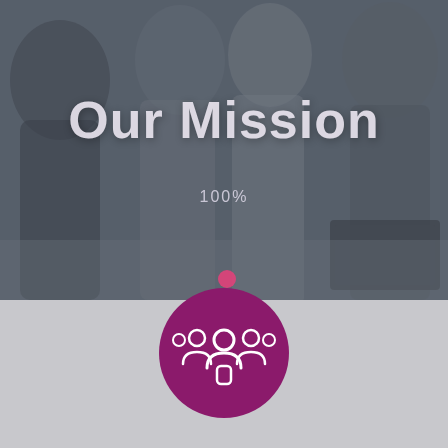[Figure (photo): Darkened background photo of diverse business people smiling and clapping at a meeting table with laptop visible]
Our Mission
100%
[Figure (illustration): Purple circle icon containing a white group of people / team icon]